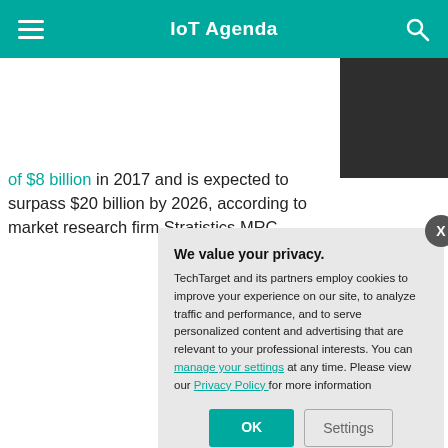IoT Agenda
of $8 billion in 2017 and is expected to surpass $20 billion by 2026, according to market research firm Stratistics MRC.
We value your privacy.
TechTarget and its partners employ cookies to improve your experience on our site, to analyze traffic and performance, and to serve personalized content and advertising that are relevant to your professional interests. You can manage your settings at any time. Please view our Privacy Policy for more information